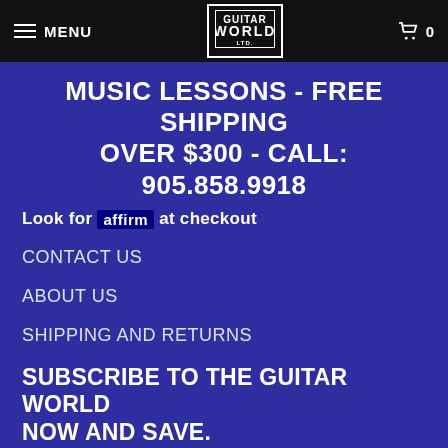MENU | Guitar World | 0
MUSIC LESSONS - FREE SHIPPING OVER $300 - CALL: 905.858.9918
Look for affirm at checkout
CONTACT US
ABOUT US
SHIPPING AND RETURNS
SUBSCRIBE TO THE GUITAR WORLD NOW AND SAVE.
Subscribe for the latest specials & events from The Guitar World.
Email address